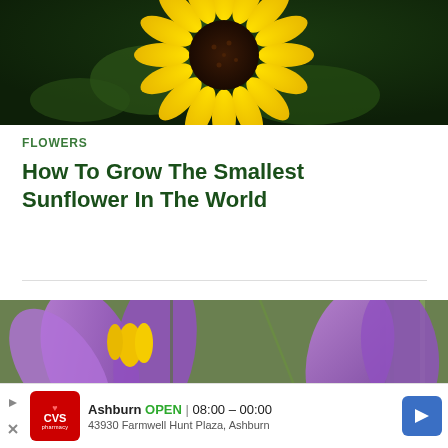[Figure (photo): Close-up photo of a bright yellow sunflower with a dark brown center, green leaves and stems in background, dark green bokeh background]
FLOWERS
How To Grow The Smallest Sunflower In The World
[Figure (photo): Close-up photo of a purple crocus flower with a yellow stamen, blurred green and brown garden background]
[Figure (other): Advertisement banner: CVS pharmacy logo, Ashburn OPEN 08:00 - 00:00, 43930 Farmwell Hunt Plaza Ashburn, navigation arrow icon]